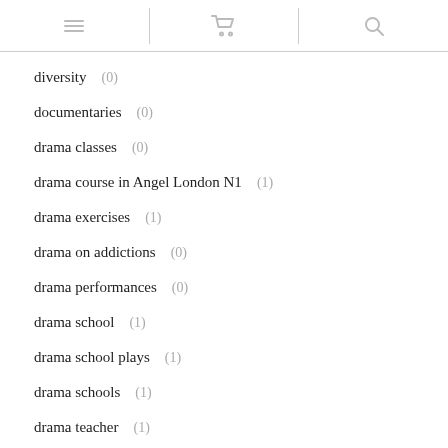[menu icon] [cart icon] [search icon]
diversity (0)
documentaries (0)
drama classes (0)
drama course in Angel London N1 (1)
drama exercises (1)
drama on addictions (0)
drama performances (0)
drama school (1)
drama school plays (1)
drama schools (1)
drama teacher (1)